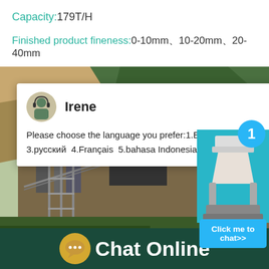Capacity:179T/H
Finished product fineness:0-10mm、0-20mm、20-40mm
[Figure (photo): Industrial quarry/crushing plant facility with machinery, conveyor belts and scaffolding structures against a hillside backdrop. Overlaid with a customer support chat popup showing agent 'Irene' with multilingual language selection message.]
Chat Online